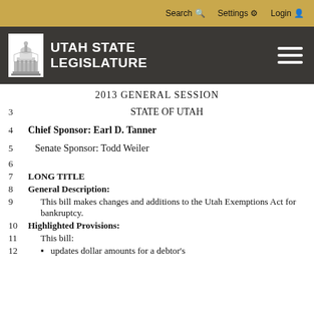Search  Settings  Login
[Figure (logo): Utah State Legislature logo with capitol building icon and white text on dark background]
2013 GENERAL SESSION
3   STATE OF UTAH
4   Chief Sponsor: Earl D. Tanner
5   Senate Sponsor: Todd Weiler
6
7   LONG TITLE
8   General Description:
9   This bill makes changes and additions to the Utah Exemptions Act for bankruptcy.
10   Highlighted Provisions:
11   This bill:
12   .   updates dollar amounts for a debtor's